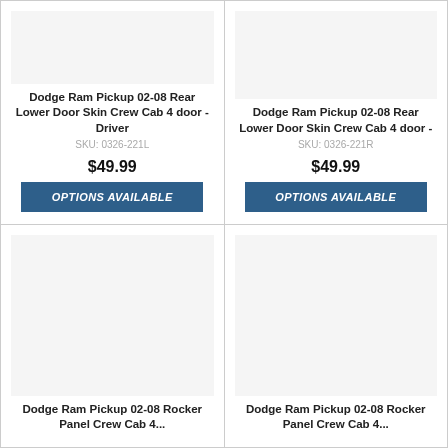Dodge Ram Pickup 02-08 Rear Lower Door Skin Crew Cab 4 door - Driver
SKU: 0326-221L
$49.99
OPTIONS AVAILABLE
Dodge Ram Pickup 02-08 Rear Lower Door Skin Crew Cab 4 door -
SKU: 0326-221R
$49.99
OPTIONS AVAILABLE
Dodge Ram Pickup 02-08 Rocker Panel Crew Cab 4...
Dodge Ram Pickup 02-08 Rocker Panel Crew Cab 4...